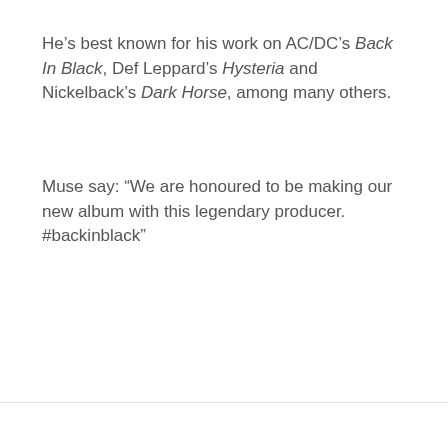He's best known for his work on AC/DC's Back In Black, Def Leppard's Hysteria and Nickelback's Dark Horse, among many others.
Muse say: “We are honoured to be making our new album with this legendary producer. #backinblack”